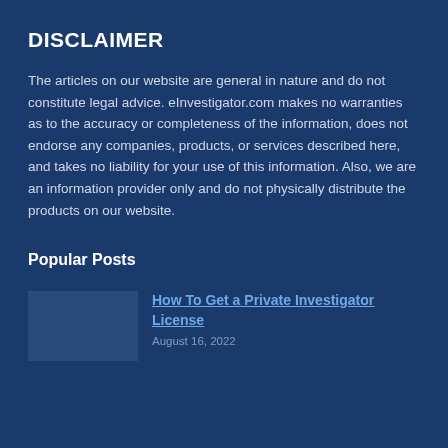DISCLAIMER
The articles on our website are general in nature and do not constitute legal advice. eInvestigator.com makes no warranties as to the accuracy or completeness of the information, does not endorse any companies, products, or services described here, and takes no liability for your use of this information. Also, we are an information provider only and do not physically distribute the products on our website.
Popular Posts
How To Get a Private Investigator License
August 16, 2022